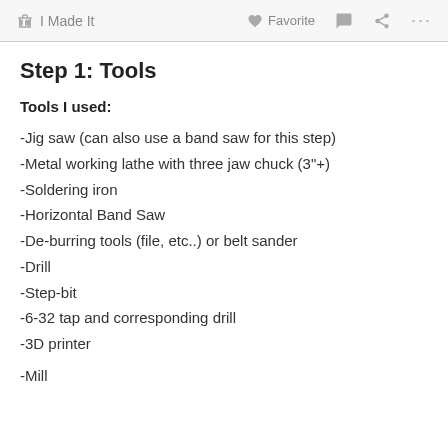I Made It   Favorite   ...
Step 1: Tools
Tools I used:
-Jig saw (can also use a band saw for this step)
-Metal working lathe with three jaw chuck (3"+)
-Soldering iron
-Horizontal Band Saw
-De-burring tools (file, etc..) or belt sander
-Drill
-Step-bit
-6-32 tap and corresponding drill
-3D printer
-Mill